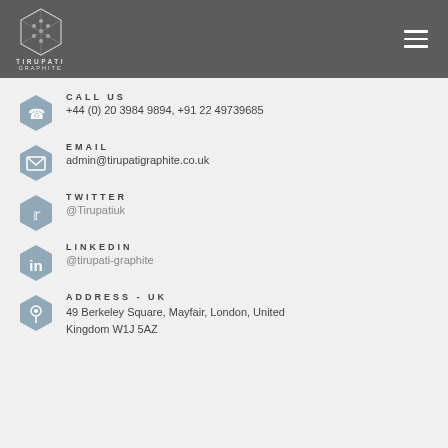[Figure (logo): Tirupati Graphite logo with hexagonal honeycomb pattern and text TIRUPATI GRAPHITE]
CALL US
+44 (0) 20 3984 9894, +91 22 49739685
EMAIL
admin@tirupatigraphite.co.uk
TWITTER
@Tirupatiuk
LINKEDIN
@tirupati-graphite
ADDRESS - UK
49 Berkeley Square, Mayfair, London, United Kingdom W1J 5AZ